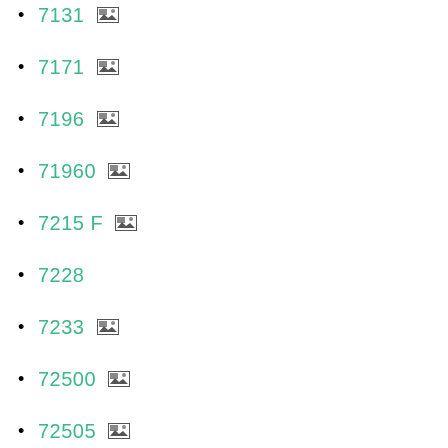7131 [image icon]
7171 [image icon]
7196 [image icon]
71960 [image icon]
7215 F [image icon]
7228
7233 [image icon]
72500 [image icon]
72505 [image icon]
72520 [image icon]
72548 [image icon]
7255 [image icon]
72727 [image icon]
7295 [image icon]
73095
73100 [image icon]
73207 [image icon]